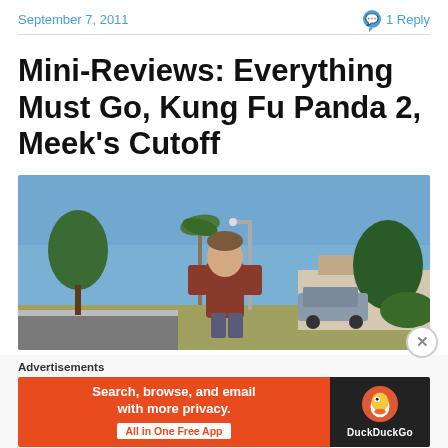September 7, 2011    💬 1 Reply
Mini-Reviews: Everything Must Go, Kung Fu Panda 2, Meek's Cutoff
[Figure (photo): A man in a red/burgundy t-shirt standing on a suburban street with palm trees, houses, and parked cars in the background under a blue sky.]
Advertisements
[Figure (infographic): DuckDuckGo advertisement banner: orange left panel reads 'Search, browse, and email with more privacy. All in One Free App' and dark right panel shows DuckDuckGo logo and brand name.]